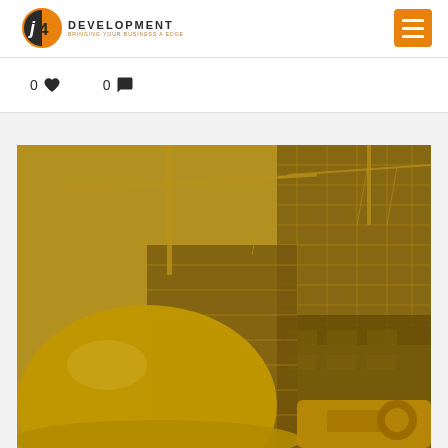[Figure (logo): j4 Development company logo with orange and black circular badge and text]
0 ♥  0 💬
[Figure (photo): Construction site photo with yellow-orange tint showing cranes, scaffolding on a building, and a yellow hard hat in the foreground]